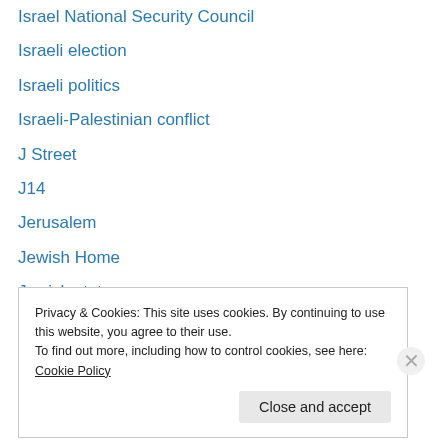Israel National Security Council
Israeli election
Israeli politics
Israeli-Palestinian conflict
J Street
J14
Jerusalem
Jewish Home
Jewish state
Jihadist group
John Kerry
Joint List
Jordan
Privacy & Cookies: This site uses cookies. By continuing to use this website, you agree to their use. To find out more, including how to control cookies, see here: Cookie Policy
Close and accept